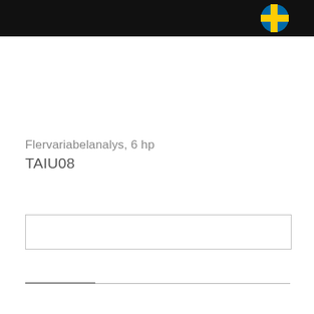[Figure (logo): Black header bar with Swedish flag circle icon on the right]
Flervariabelanalys, 6 hp
TAIU08
|  |